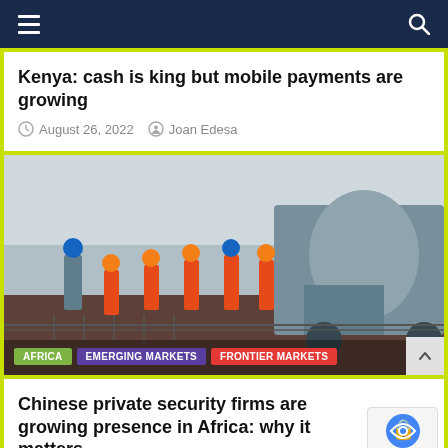Navigation bar with hamburger menu and search icon
Kenya: cash is king but mobile payments are growing
August 26, 2022   Joan Edesa
[Figure (photo): Construction workers at a worksite with a cement mixer truck; workers wearing orange and hard hats]
AFRICA   EMERGING MARKETS   FRONTIER MARKETS
Chinese private security firms are growing presence in Africa: why it matters